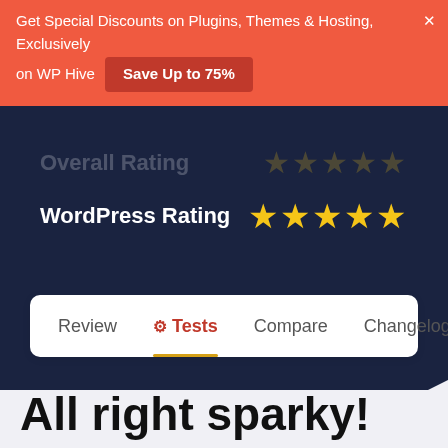Get Special Discounts on Plugins, Themes & Hosting, Exclusively on WP Hive  Save Up to 75%  ×
Overall Rating ★★★★★
WordPress Rating ★★★★★
Review  ⚙ Tests  Compare  Changelog
All right sparky!